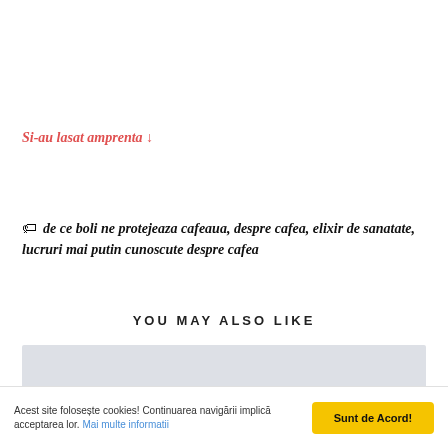Si-au lasat amprenta ↓
🏷 de ce boli ne protejeaza cafeaua, despre cafea, elixir de sanatate, lucruri mai putin cunoscute despre cafea
YOU MAY ALSO LIKE
[Figure (photo): Light blue-grey placeholder image area]
Acest site folosește cookies! Continuarea navigării implică acceptarea lor. Mai multe informatii